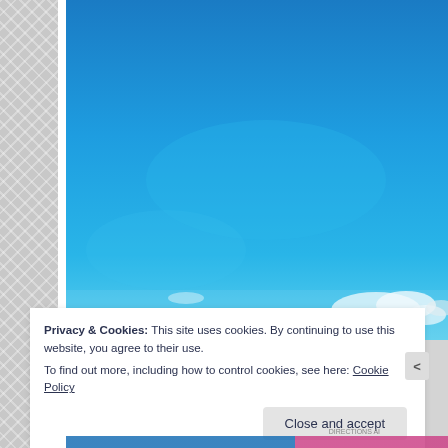[Figure (photo): A clear blue sky with a few white clouds visible in the lower right corner. The sky transitions from deeper blue at the top to lighter blue/cyan near the horizon.]
Privacy & Cookies: This site uses cookies. By continuing to use this website, you agree to their use.
To find out more, including how to control cookies, see here: Cookie Policy
Close and accept